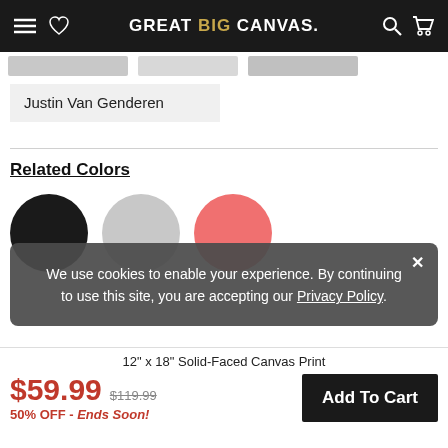GREAT BIG CANVAS
[Figure (other): Thumbnail image strip showing small product preview images]
Justin Van Genderen
Related Colors
[Figure (other): Three color circles: black, light gray, salmon/coral pink]
We use cookies to enable your experience. By continuing to use this site, you are accepting our Privacy Policy.
Frequent Questions
12" x 18" Solid-Faced Canvas Print
$59.99  $119.99  50% OFF - Ends Soon!
Add To Cart